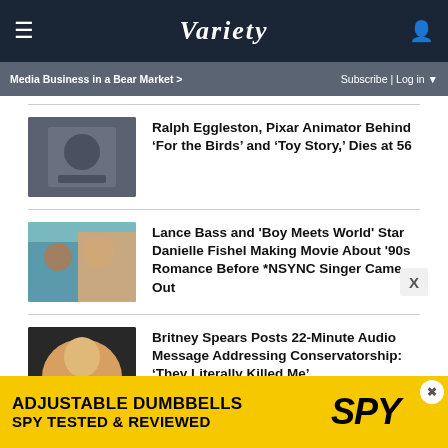Variety
Media Business in a Bear Market > | Subscribe | Log in
Ralph Eggleston, Pixar Animator Behind ‘For the Birds’ and ‘Toy Story,’ Dies at 56
Lance Bass and 'Boy Meets World' Star Danielle Fishel Making Movie About '90s Romance Before *NSYNC Singer Came Out
Britney Spears Posts 22-Minute Audio Message Addressing Conservatorship: ‘They Literally Killed Me’
[Figure (infographic): Advertisement banner for adjustable dumbbells, SPY tested and reviewed, yellow background]